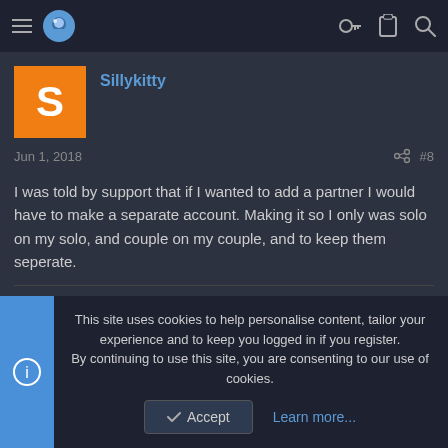Navigation bar with hamburger menu, site logo, key icon, clipboard icon, search icon
Sillykitty
Jun 1, 2018  #8
I was told by support that if I wanted to add a partner I would have to make a separate account. Making it so I only was solo on my solo, and couple on my couple, and to keep them seperate.
melgray  Inactive Cam Model
This site uses cookies to help personalise content, tailor your experience and to keep you logged in if you register. By continuing to use this site, you are consenting to our use of cookies.
Accept  Learn more...